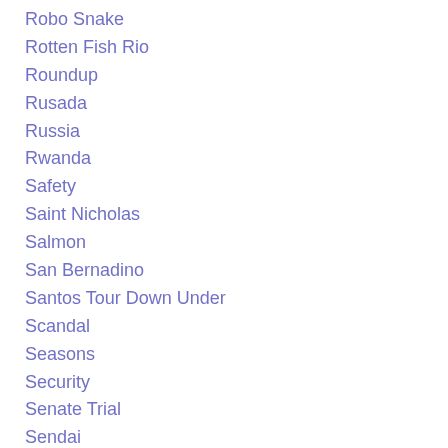Robo Snake
Rotten Fish Rio
Roundup
Rusada
Russia
Rwanda
Safety
Saint Nicholas
Salmon
San Bernadino
Santos Tour Down Under
Scandal
Seasons
Security
Senate Trial
Sendai
Shaggy Mane Mushrooms
Shap…